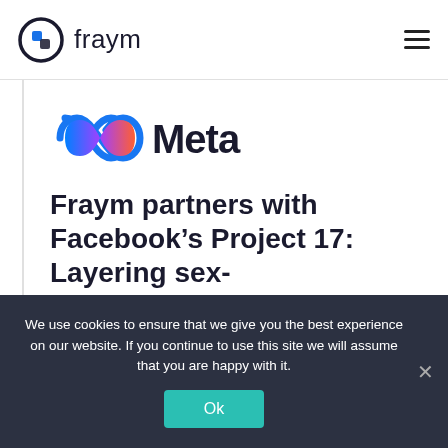fraym
[Figure (logo): Meta logo — blue infinity-style symbol with the word 'Meta' in dark navy bold text]
Fraym partners with Facebook's Project 17: Layering sex-disaggregated datasets expose gender inequalities
In order to successfully measure the SDGs, we must
We use cookies to ensure that we give you the best experience on our website. If you continue to use this site we will assume that you are happy with it.